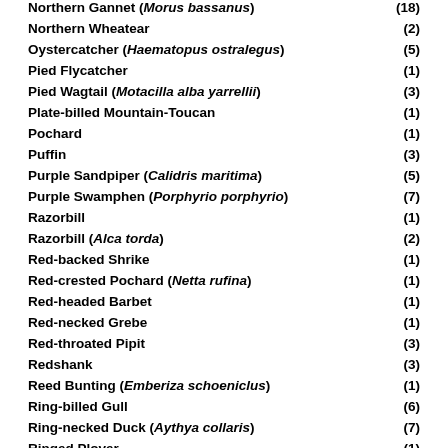Northern Gannet (Morus bassanus) (18)
Northern Wheatear (2)
Oystercatcher (Haematopus ostralegus) (5)
Pied Flycatcher (1)
Pied Wagtail (Motacilla alba yarrellii) (3)
Plate-billed Mountain-Toucan (1)
Pochard (1)
Puffin (3)
Purple Sandpiper (Calidris maritima) (5)
Purple Swamphen (Porphyrio porphyrio) (7)
Razorbill (1)
Razorbill (Alca torda) (2)
Red-backed Shrike (1)
Red-crested Pochard (Netta rufina) (1)
Red-headed Barbet (1)
Red-necked Grebe (1)
Red-throated Pipit (3)
Redshank (3)
Reed Bunting (Emberiza schoeniclus) (1)
Ring-billed Gull (6)
Ring-necked Duck (Aythya collaris) (7)
Ringed Plover (1)
Ringed Plover (Charadrius hiaticula) (5)
Robin (Erithacus rubecula) (5)
Rock Pipit (3)
Rock Pipit (Anthus petrosus) (2)
Rock Pipit (Anthus petrosus) (1)
Rook (3)
Ruddy Turnstone (6)